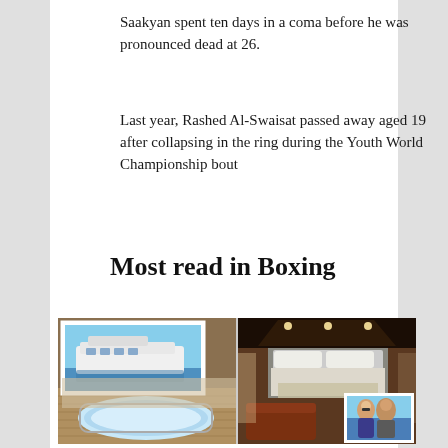Saakyan spent ten days in a coma before he was pronounced dead at 26.
Last year, Rashed Al-Swaisat passed away aged 19 after collapsing in the ring during the Youth World Championship bout
Most read in Boxing
[Figure (photo): Collage of yacht images: top-left shows a large white luxury yacht docked in water, bottom-left shows a hot tub/jacuzzi on the yacht deck, right side shows an opulent interior bedroom with dark wood paneling and recessed ceiling, with a small inset photo of a couple (man and woman) in the bottom right corner.]